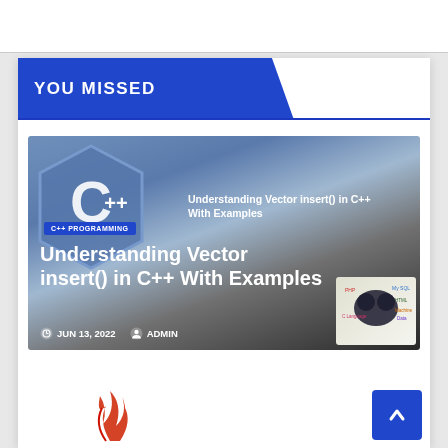YOU MISSED
[Figure (screenshot): Article card for 'Understanding Vector insert() in C++ With Examples' with C++ logo hexagon, category badge 'C++ PROGRAMMING', article title, date JUN 13, 2022, and ADMIN author. All-Learning branding logo in bottom right.]
Understanding Vector insert() in C++ With Examples
JUN 13, 2022   ADMIN